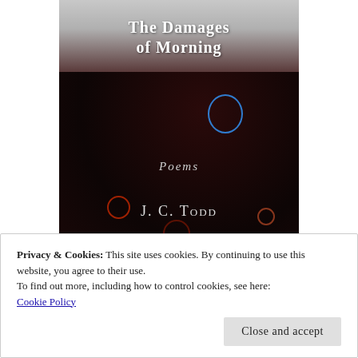[Figure (illustration): Book cover for 'The Damages of Morning – Poems' by J. C. Todd. Upper portion shows a grey/dark background with the title in white bold text. Lower portion is a dark abstract image with glowing neon outlines of shapes, circles, and what appears to be a syringe or needle. The words 'Poems' and 'J. C. Todd' appear in the dark area.]
Privacy & Cookies: This site uses cookies. By continuing to use this website, you agree to their use.
To find out more, including how to control cookies, see here: Cookie Policy
Close and accept